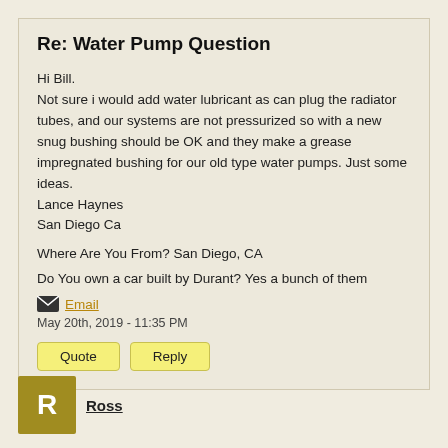Re: Water Pump Question
Hi Bill.
Not sure i would add water lubricant as can plug the radiator tubes, and our systems are not pressurized so with a new snug bushing should be OK and they make a grease impregnated bushing for our old type water pumps. Just some ideas.
Lance Haynes
San Diego Ca
Where Are You From? San Diego, CA
Do You own a car built by Durant? Yes a bunch of them
Email
May 20th, 2019 - 11:35 PM
Quote
Reply
Ross